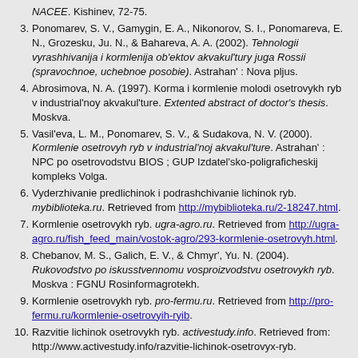NACEE. Kishinev, 72-75.
3. Ponomarev, S. V., Gamygin, E. A., Nikonorov, S. I., Ponomareva, E. N., Grozesku, Ju. N., & Bahareva, A. A. (2002). Tehnologii vyrashhivanija i kormlenija ob'ektov akvakul'tury juga Rossii (spravochnoe, uchebnoe posobie). Astrahan' : Nova pljus.
4. Abrosimova, N. A. (1997). Korma i kormlenie molodi osetrovykh ryb v industrial'noy akvakul'ture. Extented abstract of doctor's thesis. Moskva.
5. Vasil'eva, L. M., Ponomarev, S. V., & Sudakova, N. V. (2000). Kormlenie osetrovyh ryb v industrial'noj akvakul'ture. Astrahan' : NPC po osetrovodstvu BIOS ; GUP Izdatel'sko-poligraficheskij kompleks Volga.
6. Vyderzhivanie predlichinok i podrashchivanie lichinok ryb. mybiblioteka.ru. Retrieved from http://mybiblioteka.ru/2-18247.html.
7. Kormlenie osetrovykh ryb. ugra-agro.ru. Retrieved from http://ugra-agro.ru/fish_feed_main/vostok-agro/293-kormlenie-osetrovyh.html.
8. Chebanov, M. S., Galich, E. V., & Chmyr', Yu. N. (2004). Rukovodstvo po iskusstvennomu vosproizvodstvu osetrovykh ryb. Moskva : FGNU Rosinformagrotekh.
9. Kormlenie osetrovykh ryb. pro-fermu.ru. Retrieved from http://pro-fermu.ru/kormlenie-osetrovyih-ryib.
10. Razvitie lichinok osetrovykh ryb. activestudy.info. Retrieved from: http://www.activestudy.info/razvitie-lichinok-osetrovyx-ryb.
11. Zheltov, Ju. A. (2006). Kormlenie raznovozrastnyh cennyh vidov ryb v fermerskih rybnyh hozjajstvah. Kiev : INKOS.
12. Ponomarev, S. V., Gamygin E. A., & Kanid'ev, A. N. (2010). Fiziologicheskie osnovy sozdaniya polnotsennykh kombinirovannykh